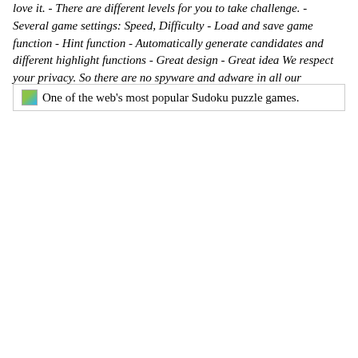love it. - There are different levels for you to take challenge. - Several game settings: Speed, Difficulty - Load and save game function - Hint function - Automatically generate candidates and different highlight functions - Great design - Great idea We respect your privacy. So there are no spyware and adware in all our software.
[Figure (other): Small broken image icon followed by text: One of the web's most popular Sudoku puzzle games.]